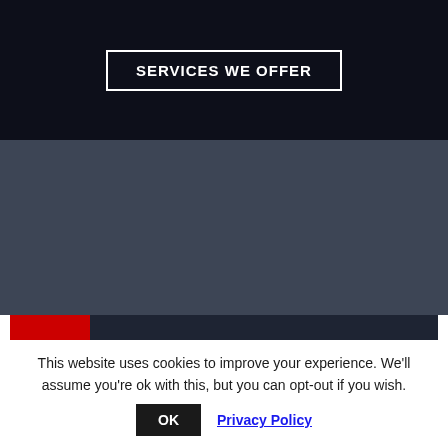SERVICES WE OFFER
[Figure (logo): Blackpool Home Handyman logo with red background tool icons (hammer and wrench) on the left and white bold text 'BLACKPOOL' with italic script 'Home Handyman' on dark background]
This website uses cookies to improve your experience. We'll assume you're ok with this, but you can opt-out if you wish.
OK  Privacy Policy